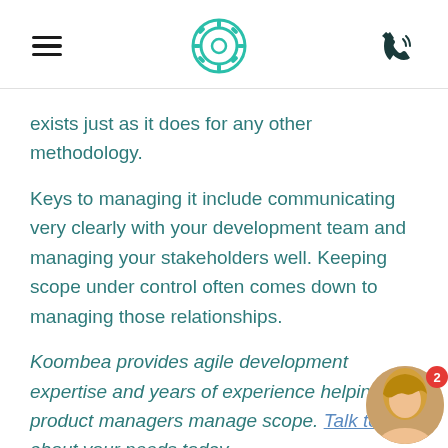[hamburger menu icon] [Koombea gear logo] [phone icon]
exists just as it does for any other methodology.
Keys to managing it include communicating very clearly with your development team and managing your stakeholders well. Keeping scope under control often comes down to managing those relationships.
Koombea provides agile development expertise and years of experience helping product managers manage scope. Talk to us about your needs today.